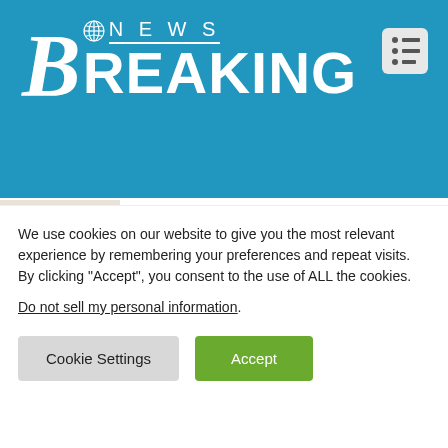Breaking News
Refurb the Bathroom of Your House by Acquiring Our Services
BUSINESS /
What does the Dow Jones crash mean
We use cookies on our website to give you the most relevant experience by remembering your preferences and repeat visits. By clicking "Accept", you consent to the use of ALL the cookies.
Do not sell my personal information.